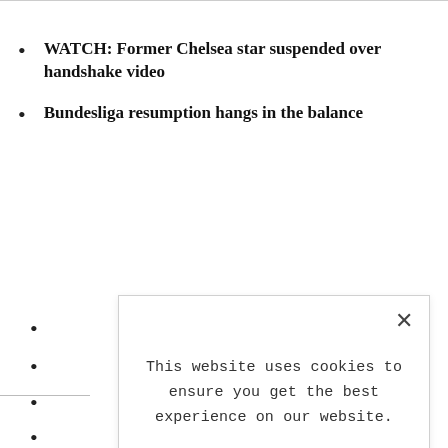WATCH: Former Chelsea star suspended over handshake video
Bundesliga resumption hangs in the balance
[Figure (screenshot): Cookie consent modal dialog with close button (×), text reading 'This website uses cookies to ensure you get the best experience on our website.', a bold 'LEARN MORE.' link, and an 'ACCEPT COOKIES' button in light blue.]